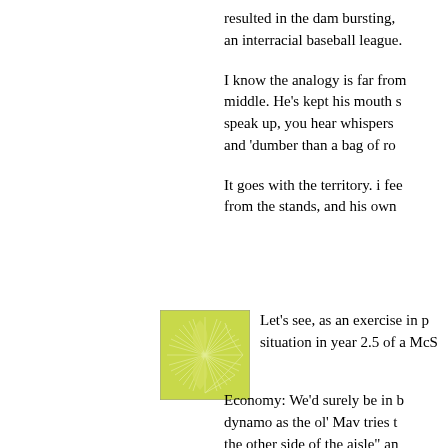resulted in the dam bursting, an interracial baseball league.
I know the analogy is far from middle. He's kept his mouth s speak up, you hear whispers and 'dumber than a bag of ro
It goes with the territory. i fee from the stands, and his own
[Figure (illustration): Square avatar image with a yellow-green abstract pattern showing a circular burst or dandelion-like design on a light yellow-green background]
Let's see, as an exercise in p situation in year 2.5 of a McS
Economy: We'd surely be in b dynamo as the ol' Mav tries t the other side of the aisle" an scheme that came down the the 2010 elections would've g have a donk controlled House damnedest to make the JEF unemployment at 7.5 with the Recession.